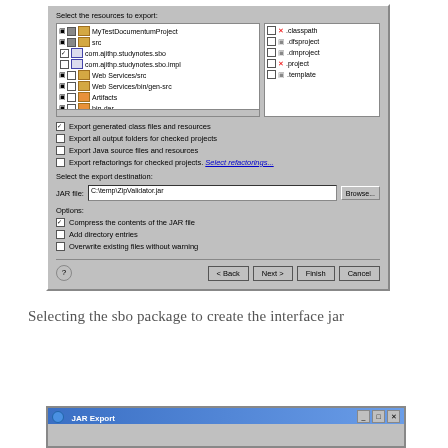[Figure (screenshot): Eclipse JAR Export dialog showing file tree with MyTestDocumentumProject selected, checkboxes for export options, JAR file destination C:\temp\ZipValidator.jar, and options for compress contents, add directory entries, overwrite existing files. Bottom buttons: Back, Next, Finish, Cancel.]
Selecting the sbo package to create the interface jar
[Figure (screenshot): Bottom portion of JAR Export dialog window title bar]